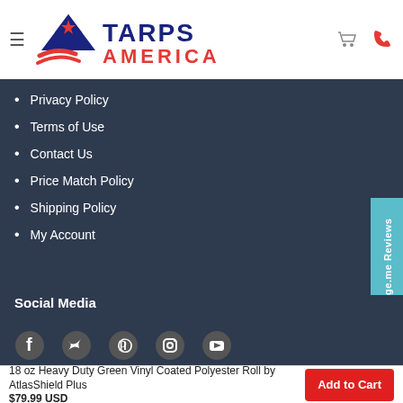[Figure (logo): Tarps America logo with blue mountain/house icon and red/white swoosh, with hamburger menu, cart and phone icons in header]
Privacy Policy
Terms of Use
Contact Us
Price Match Policy
Shipping Policy
My Account
Social Media
[Figure (illustration): Social media icons: Facebook, Twitter, Pinterest, Instagram, YouTube]
18 oz Heavy Duty Green Vinyl Coated Polyester Roll by AtlasShield Plus $79.99 USD
Add to Cart